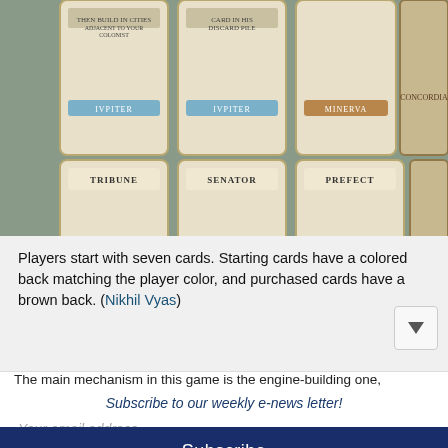[Figure (photo): Board game cards laid out on a table, showing cards from the game Concordia including Tribune, Senator, Prefect cards, and the Concordia card. Cards show Mars, Evesta, Saturnus labels.]
Players start with seven cards. Starting cards have a colored back matching the player color, and purchased cards have a brown back. (Nikhil Vyas)
The main mechanism in this game is the engine-building one, wh
Subscribe to our weekly e-news letter!
Your email address..
Subscribe